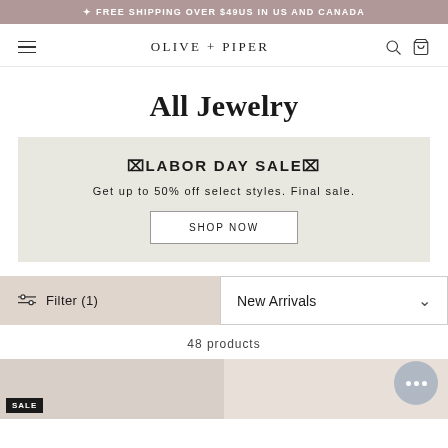✦ FREE SHIPPING OVER $49US IN US AND CANADA
OLIVE + PIPER
All Jewelry
⌧LABOR DAY SALE⌧
Get up to 50% off select styles. Final sale.
SHOP NOW
Filter (1)
New Arrivals
48 products